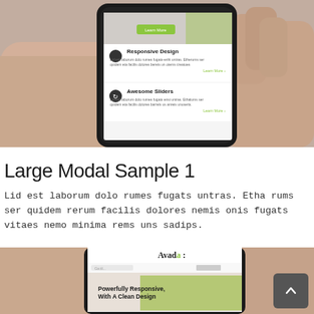[Figure (photo): Hand holding a smartphone showing a website with Responsive Design and Awesome Sliders sections]
Large Modal Sample 1
Lid est laborum dolo rumes fugats untras. Etha rums ser quidem rerum facilis dolores nemis onis fugats vitaes nemo minima rems uns sadips.
[Figure (other): Green button labeled Large Modal Sample 1]
[Figure (screenshot): Bottom portion: hand holding smartphone showing Avada website with Powerfully Responsive, With A Clean Design text]